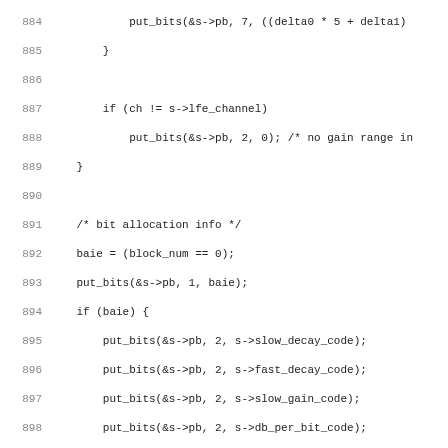Source code listing, lines 884-915, showing audio encoding functions including bit allocation info, SNR offset, and mantissa encoding logic in C.